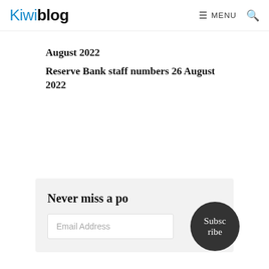Kiwiblog  ☰ MENU  🔍
August 2022
Reserve Bank staff numbers 26 August 2022
Never miss a post
Email Address
Subscribe